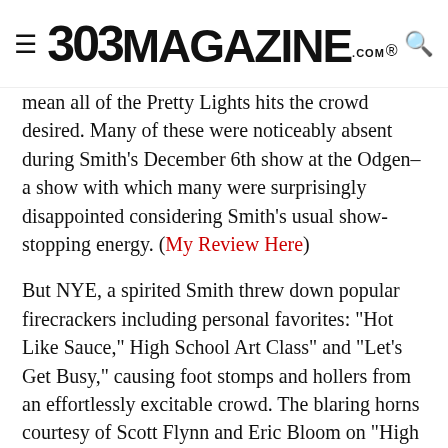303 MAGAZINE
mean all of the Pretty Lights hits the crowd desired. Many of these were noticeably absent during Smith’s December 6th show at the Odgen–a show with which many were surprisingly disappointed considering Smith’s usual show-stopping energy. (My Review Here)
But NYE, a spirited Smith threw down popular firecrackers including personal favorites: “Hot Like Sauce,” High School Art Class” and “Let’s Get Busy,” causing foot stomps and hollers from an effortlessly excitable crowd. The blaring horns courtesy of Scott Flynn and Eric Bloom on “High School Art Class” trumped any brass sounds I’ve heard in a long while.
When Smith did slow it down for softer, more nostalgic tracks like “Yellow Bird” couples pulled one another close, singles swayed and the atmosphere sparkled with now-legal puffs of marijuana smoke. Smith lovingly dedicated the hauntingly beautiful “We Must Go On,” to longtime girlfriend and creative director of Pretty Lights, Krystle Blackburn, who can be seen scurrying about nearly every Pretty Lights show, snapping pictures and taking videos that